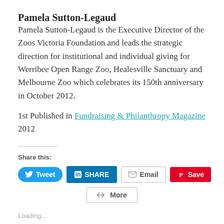Pamela Sutton-Legaud
Pamela Sutton-Legaud is the Executive Director of the Zoos Victoria Foundation and leads the strategic direction for institutional and individual giving for Werribee Open Range Zoo, Healesville Sanctuary and Melbourne Zoo which celebrates its 150th anniversary in October 2012.
1st Published in Fundraising & Philanthropy Magazine 2012
Share this:
Tweet | SHARE | Email | Save | More
Loading...